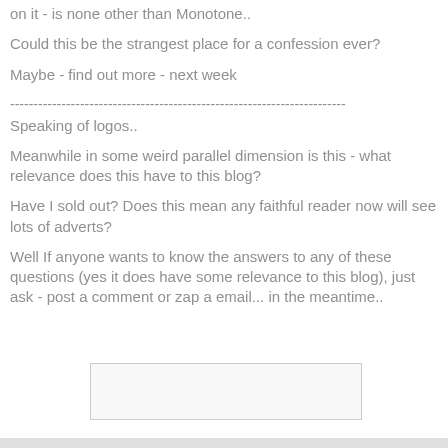on it  - is none other than Monotone..
Could this be the strangest place for a confession ever?
Maybe - find out more - next week
------------------------------------------------------------------------
Speaking of logos..
Meanwhile in some weird parallel dimension is this - what relevance does this have to this blog?
Have I sold out? Does this mean any faithful reader now will see lots of adverts?
Well If anyone wants to know the answers to any of these questions (yes it does have some relevance to this blog), just ask - post a comment or zap a email... in the meantime..
[Figure (other): Empty or blank image placeholder box]